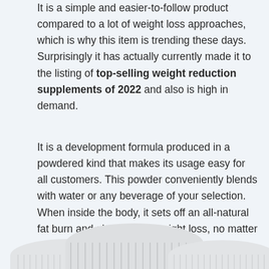It is a simple and easier-to-follow product compared to a lot of weight loss approaches, which is why this item is trending these days. Surprisingly it has actually currently made it to the listing of top-selling weight reduction supplements of 2022 and also is high in demand.
It is a development formula produced in a powdered kind that makes its usage easy for all customers. This powder conveniently blends with water or any beverage of your selection. When inside the body, it sets off an all-natural fat burn and also healthy weight loss, no matter what is the weight of an individual.
[Figure (photo): Bottom portion of white supplement/product containers with ribbed lids visible at the bottom of the page]